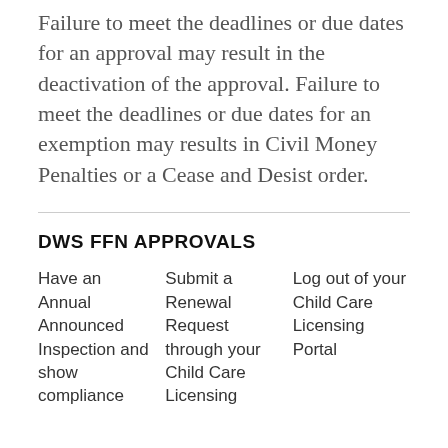Failure to meet the deadlines or due dates for an approval may result in the deactivation of the approval. Failure to meet the deadlines or due dates for an exemption may results in Civil Money Penalties or a Cease and Desist order.
DWS FFN APPROVALS
Have an Annual Announced Inspection and show compliance
Submit a Renewal Request through your Child Care Licensing
Log out of your Child Care Licensing Portal